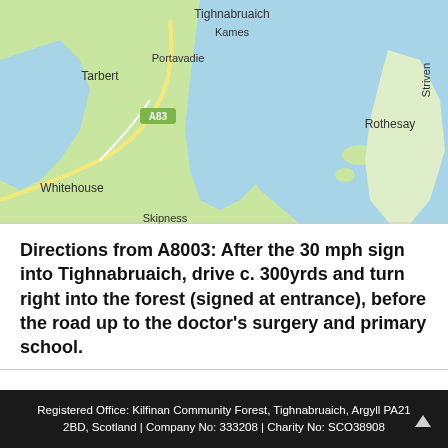[Figure (map): Google Maps style map showing Tighnabruaich, Kames, Portavadie, Tarbert, Rothesay, Whitehouse, and road A83, with water/sea inlets shown in blue and land in light green.]
Directions from A8003: After the 30 mph sign into Tighnabruaich, drive c. 300yrds and turn right into the forest (signed at entrance), before the road up to the doctor's surgery and primary school.
Registered Office: Kilfinan Community Forest, Tighnabruaich, Argyll PA21 2BD, Scotland | Company No: 333208 | Charity No: SCO38908